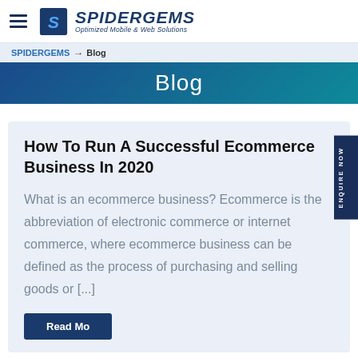SPIDERGEMS — Optimized Mobile & Web Solutions
SPIDERGEMS → Blog
Blog
How To Run A Successful Ecommerce Business In 2020
What is an ecommerce business? Ecommerce is the abbreviation of electronic commerce or internet commerce, where ecommerce business can be defined as the process of purchasing and selling goods or [...]
Read More